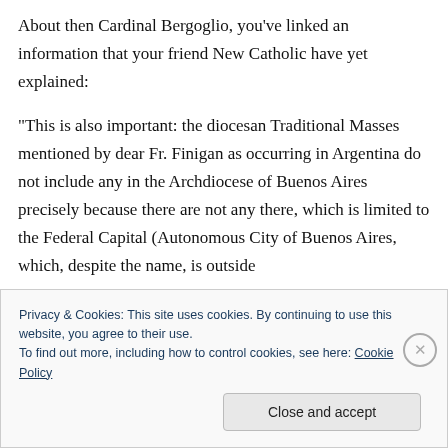About then Cardinal Bergoglio, you've linked an information that your friend New Catholic have yet explained:
“This is also important: the diocesan Traditional Masses mentioned by dear Fr. Finigan as occurring in Argentina do not include any in the Archdiocese of Buenos Aires precisely because there are not any there, which is limited to the Federal Capital (Autonomous City of Buenos Aires, which, despite the name, is outside
Privacy & Cookies: This site uses cookies. By continuing to use this website, you agree to their use.
To find out more, including how to control cookies, see here: Cookie Policy
Close and accept